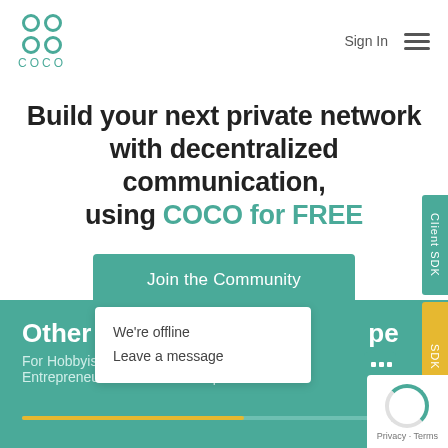[Figure (logo): COCO logo with four circles arranged in a grid pattern and COCO text below in teal color]
Sign In
[Figure (illustration): Hamburger menu icon with three horizontal lines]
Build your next private network with decentralized communication, using COCO for FREE
Join the Community
Client SDK
Other Pricing
For Hobbyists and Entrepreneurs
Developers
We're offline
Leave a message
Privacy · Terms